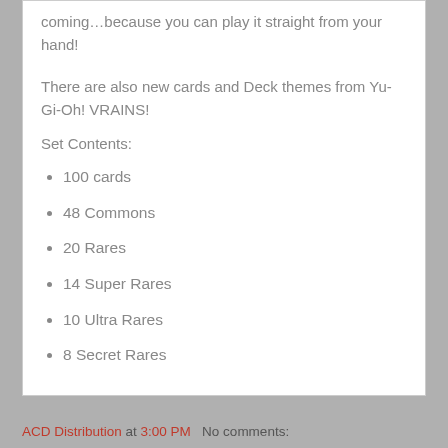coming…because you can play it straight from your hand!
There are also new cards and Deck themes from Yu-Gi-Oh! VRAINS!
Set Contents:
100 cards
48 Commons
20 Rares
14 Super Rares
10 Ultra Rares
8 Secret Rares
ACD Distribution at 3:00 PM   No comments: